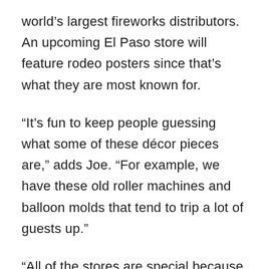world's largest fireworks distributors. An upcoming El Paso store will feature rodeo posters since that's what they are most known for.
“It’s fun to keep people guessing what some of these décor pieces are,” adds Joe. “For example, we have these old roller machines and balloon molds that tend to trip a lot of guests up.”
“All of the stores are special because of how they specifically tie into the community.”